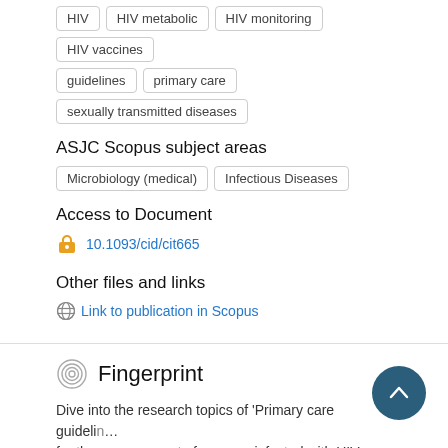HIV
HIV metabolic
HIV monitoring
HIV vaccines
guidelines
primary care
sexually transmitted diseases
ASJC Scopus subject areas
Microbiology (medical)
Infectious Diseases
Access to Document
10.1093/cid/cit665
Other files and links
Link to publication in Scopus
Fingerprint
Dive into the research topics of 'Primary care guidelines for the management of persons infected with HIV: 2013